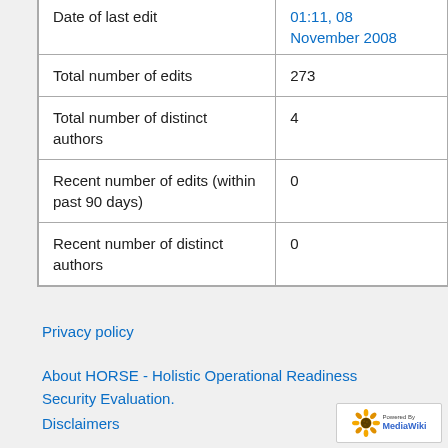|  |  |
| --- | --- |
| Date of last edit | 01:11, 08 November 2008 |
| Total number of edits | 273 |
| Total number of distinct authors | 4 |
| Recent number of edits (within past 90 days) | 0 |
| Recent number of distinct authors | 0 |
Privacy policy
About HORSE - Holistic Operational Readiness Security Evaluation.
Disclaimers
[Figure (logo): Powered by MediaWiki logo with sunflower icon]